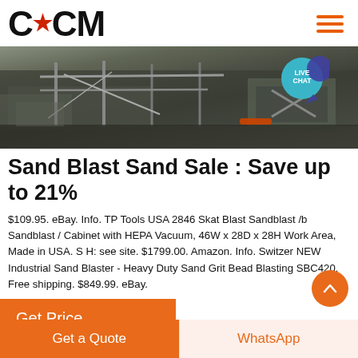CCM [logo with star]
[Figure (photo): Industrial machinery/sandblasting equipment in a workshop setting, dark industrial photo with metal structures and pipes. A 'LIVE CHAT' badge overlay in teal is in the top right.]
Sand Blast Sand Sale : Save up to 21%
$109.95. eBay. Info. TP Tools USA 2846 Skat Blast Sandblast /b Sandblast / Cabinet with HEPA Vacuum, 46W x 28D x 28H Work Area, Made in USA. S H: see site. $1799.00. Amazon. Info. Switzer NEW Industrial Sand Blaster - Heavy Duty Sand Grit Bead Blasting SBC420. Free shipping. $849.99. eBay.
Get Price
Get a Quote
WhatsApp